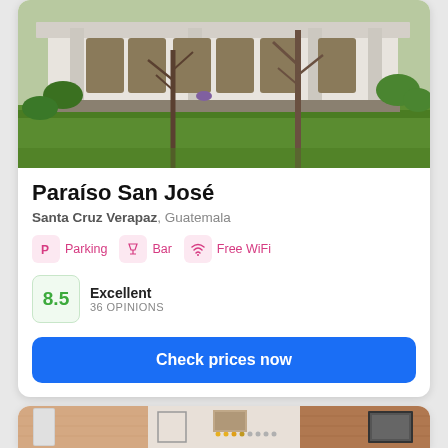[Figure (photo): Exterior photo of Paraíso San José hotel showing a white building with wooden doors/windows, stone pillars, lush green lawn, and bare trees in the foreground]
Paraíso San José
Santa Cruz Verapaz, Guatemala
Parking
Bar
Free WiFi
8.5 Excellent 36 OPINIONS
Check prices now
[Figure (photo): Partial view of another hotel listing card showing an interior room with brick walls and framed pictures]